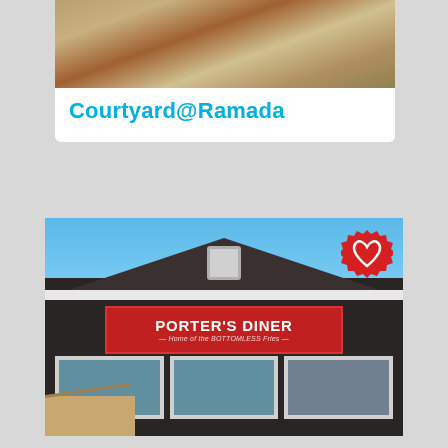[Figure (photo): Photo of a restaurant table setting with colorful placemats, silverware, and a silver pitcher, likely at Courtyard@Ramada]
Courtyard@Ramada
[Figure (photo): Exterior photo of Porter's Diner - Home of the BOTTOMLESS Fries, a dark-sided building with a prominent red sign, windows, and a wooden ramp entrance. A red heart/favorite badge is overlaid in the top-right corner.]